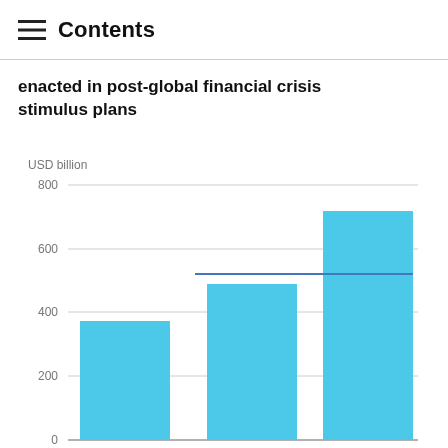Contents
enacted in post-global financial crisis stimulus plans
[Figure (bar-chart): enacted in post-global financial crisis stimulus plans]